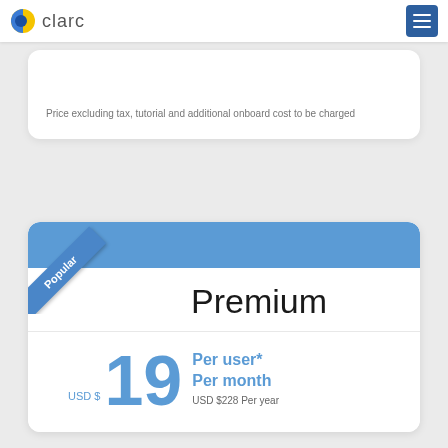[Figure (logo): Clarc logo with blue/yellow circle icon and text 'clarc']
Price excluding tax, tutorial and additional onboard cost to be charged
Premium
USD $ 19 Per user* Per month USD $228 Per year